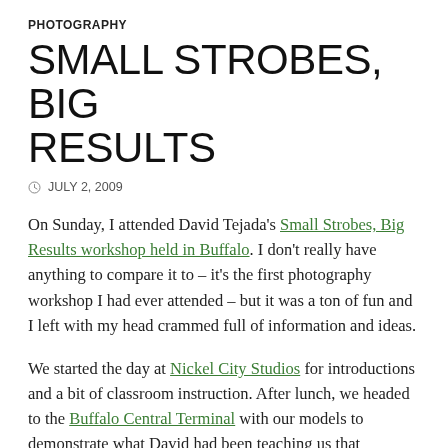PHOTOGRAPHY
SMALL STROBES, BIG RESULTS
JULY 2, 2009
On Sunday, I attended David Tejada's Small Strobes, Big Results workshop held in Buffalo. I don't really have anything to compare it to – it's the first photography workshop I had ever attended – but it was a ton of fun and I left with my head crammed full of information and ideas.
We started the day at Nickel City Studios for introductions and a bit of classroom instruction. After lunch, we headed to the Buffalo Central Terminal with our models to demonstrate what David had been teaching us that morning.
Even though I grew up in Buffalo, I had never been to the